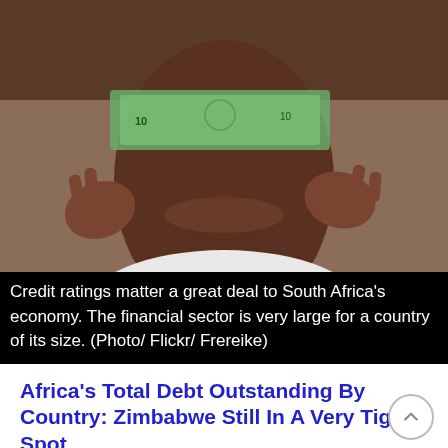[Figure (photo): Person holding currency notes against their face, wearing a white shirt, hands raised to cheeks]
Credit ratings matter a great deal to South Africa's economy. The financial sector is very large for a country of its size. (Photo/ Flickr/ Frereike)
Africa's Total Debt Outstanding By Country: Zimbabwe Still In A Very Tight Spot
DECEMBER 3, 2016
Sovereign debt is being watched carefully across